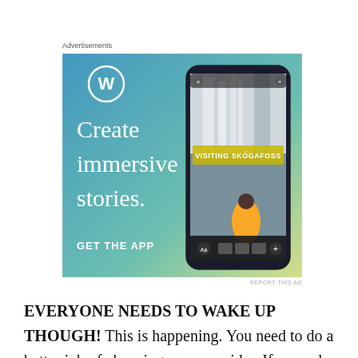Advertisements
[Figure (illustration): WordPress advertisement banner with blue-to-yellow gradient background. Left side shows WordPress logo (W in circle), large white serif text reading 'Create immersive stories.' and bold white sans-serif text 'GET THE APP'. Right side shows a smartphone displaying a WordPress story with a waterfall photo and text 'VISITING SKÓGAFOSS'.]
REPORT THIS AD
EVERYONE NEEDS TO WAKE UP THOUGH! This is happening. You need to do a better job of choosing your provider. If you ask a friend and learn that the friend got